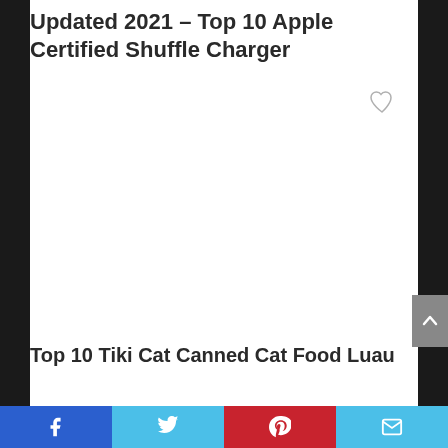Updated 2021 – Top 10 Apple Certified Shuffle Charger
[Figure (other): Heart/like icon (outline heart shape, grey)]
[Figure (other): White blank image area placeholder]
[Figure (other): Scroll-to-top button with upward chevron arrow, grey background]
Top 10 Tiki Cat Canned Cat Food Luau
Facebook | Twitter | Pinterest | Email social share bar